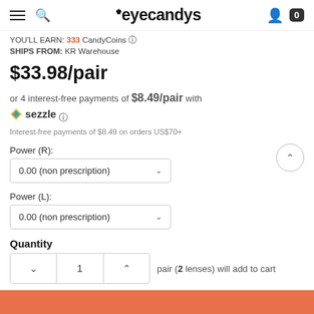eyecandys — navigation header with hamburger menu, search, logo, user icon, and cart (0)
YOU'LL EARN: 333 CandyCoins ⓘ
SHIPS FROM: KR Warehouse
$33.98/pair
or 4 interest-free payments of $8.49/pair with sezzle ⓘ
Interest-free payments of $8.49 on orders US$70+
Power (R):
0.00 (non prescription)
Power (L):
0.00 (non prescription)
Quantity
1 pair (2 lenses) will add to cart